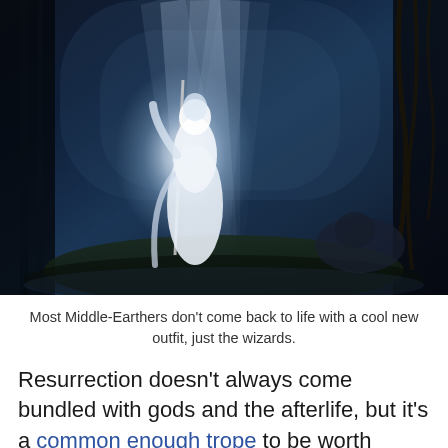[Figure (photo): A dramatic movie still of a white-robed wizard (Gandalf the White from Lord of the Rings) standing in a dark forest with light rays streaming through the trees, with a crouching figure visible on the right.]
Most Middle-Earthers don't come back to life with a cool new outfit, just the wizards.
Resurrection doesn't always come bundled with gods and the afterlife, but it's a common enough trope to be worth addressing. If resurrections in your settings are cheap and widely accessible, they would lead to an effectively deathless society